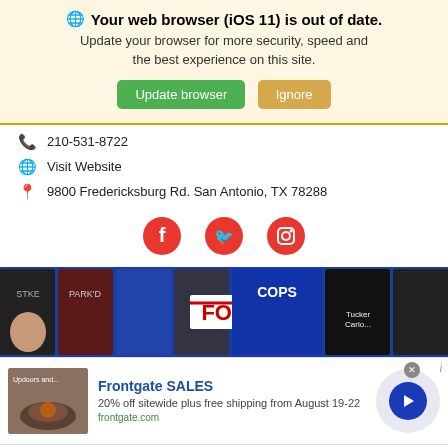🌐 Your web browser (iOS 11) is out of date. Update your browser for more security, speed and the best experience on this site.
Update browser | Ignore
📞 210-531-8722
🌐 Visit Website
📍 9800 Fredericksburg Rd. San Antonio, TX 78288
[Figure (infographic): Social media icons: Facebook, Twitter, Instagram red circles]
[Figure (screenshot): FOX News banner with TV show thumbnails on blue background]
[Figure (infographic): Frontgate SALES advertisement: 20% off sitewide plus free shipping from August 19-22, frontgate.com, with outdoor furniture image and blue arrow button]